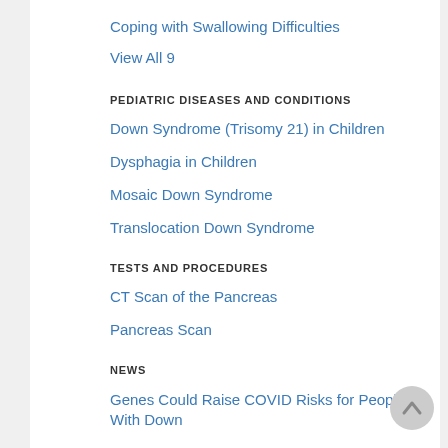Coping with Swallowing Difficulties
View All 9
PEDIATRIC DISEASES AND CONDITIONS
Down Syndrome (Trisomy 21) in Children
Dysphagia in Children
Mosaic Down Syndrome
Translocation Down Syndrome
TESTS AND PROCEDURES
CT Scan of the Pancreas
Pancreas Scan
NEWS
Genes Could Raise COVID Risks for People With Down